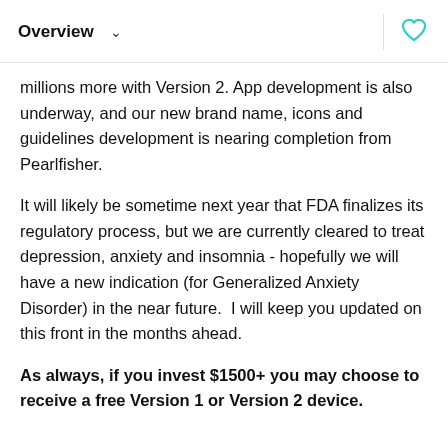Overview
millions more with Version 2. App development is also underway, and our new brand name, icons and guidelines development is nearing completion from Pearlfisher.
It will likely be sometime next year that FDA finalizes its regulatory process, but we are currently cleared to treat depression, anxiety and insomnia - hopefully we will have a new indication (for Generalized Anxiety Disorder) in the near future.  I will keep you updated on this front in the months ahead.
As always, if you invest $1500+ you may choose to receive a free Version 1 or Version 2 device.